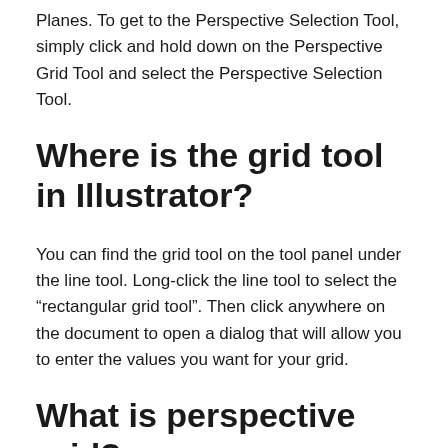Planes. To get to the Perspective Selection Tool, simply click and hold down on the Perspective Grid Tool and select the Perspective Selection Tool.
Where is the grid tool in Illustrator?
You can find the grid tool on the tool panel under the line tool. Long-click the line tool to select the “rectangular grid tool”. Then click anywhere on the document to open a dialog that will allow you to enter the values you want for your grid.
What is perspective grid?